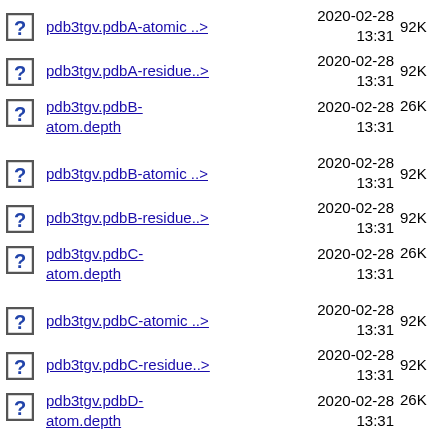pdb3tgv.pdbA-atomic ..>  2020-02-28 13:31  92K
pdb3tgv.pdbA-residue..>  2020-02-28 13:31  92K
pdb3tgv.pdbB-atom.depth  2020-02-28 13:31  26K
pdb3tgv.pdbB-atomic ..>  2020-02-28 13:31  92K
pdb3tgv.pdbB-residue..>  2020-02-28 13:31  92K
pdb3tgv.pdbC-atom.depth  2020-02-28 13:31  26K
pdb3tgv.pdbC-atomic ..>  2020-02-28 13:31  92K
pdb3tgv.pdbC-residue..>  2020-02-28 13:31  92K
pdb3tgv.pdbD-atom.depth  2020-02-28 13:31  26K
pdb3tgv.pdbD-atomic ..>  2020-02-28 13:31  92K
pdb3tgv.pdbD-residue..>  2020-02-28 13:31  92K